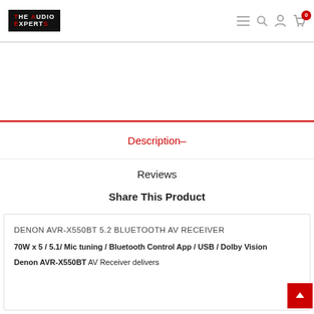THE AUDIO EXPERTS — navigation bar with logo, menu, search, user, cart icons
Description-
Reviews
Share This Product
DENON AVR-X550BT 5.2 BLUETOOTH AV RECEIVER
70W x 5 / 5.1/ Mic tuning / Bluetooth Control App / USB / Dolby Vision
Denon AVR-X550BT AV Receiver delivers